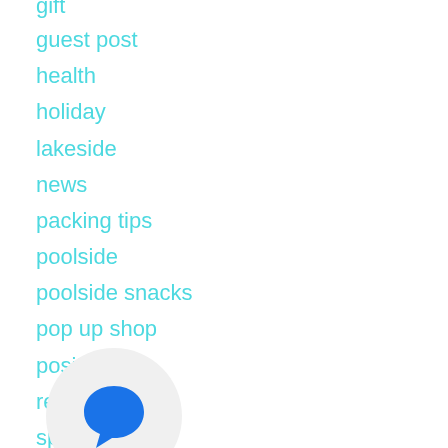gift
guest post
health
holiday
lakeside
news
packing tips
poolside
poolside snacks
pop up shop
positive
retail
spring
spring break
staycation
summer camps
style
summer
[Figure (illustration): Blue chat bubble icon inside a light grey circle overlay]